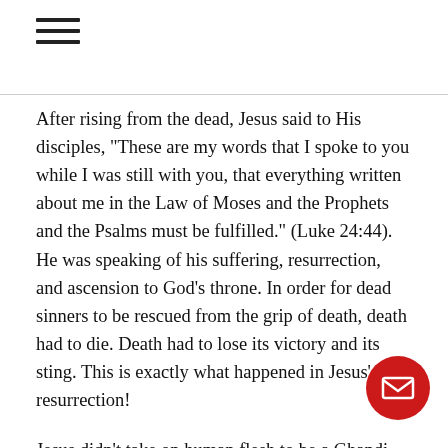≡
After rising from the dead, Jesus said to His disciples, "These are my words that I spoke to you while I was still with you, that everything written about me in the Law of Moses and the Prophets and the Psalms must be fulfilled." (Luke 24:44). He was speaking of his suffering, resurrection, and ascension to God's throne. In order for dead sinners to be rescued from the grip of death, death had to die. Death had to lose its victory and its sting. This is exactly what happened in Jesus' resurrection!
Jesus didn't take on human flesh to be a Ghandi-like moral teacher of the law. He didn't show up to be an earthly King and overthrow the Roman government. He came to do what the law couldn't do by fulfilling the righteous requirement of the law for us (Romans